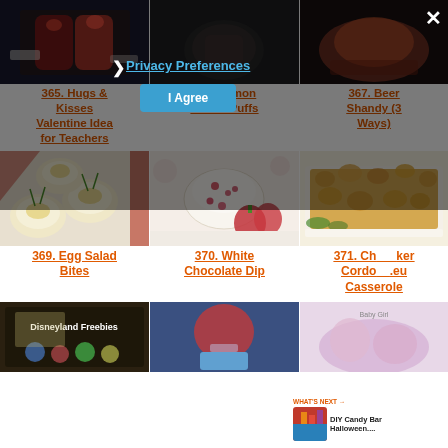[Figure (screenshot): Screenshot of a recipe/craft link party webpage showing a 3-column grid of numbered recipe and craft links with photos. Includes a Privacy Preferences modal overlay, a share button popup, and a 'What's Next' banner.]
365. Hugs & Kisses Valentine Idea for Teachers
366. Lemon Cream Puffs
367. Beer Shandy (3 Ways)
369. Egg Salad Bites
370. White Chocolate Dip
371. Chicken Cordon Bleu Casserole
WHAT'S NEXT → DIY Candy Bar Halloween....